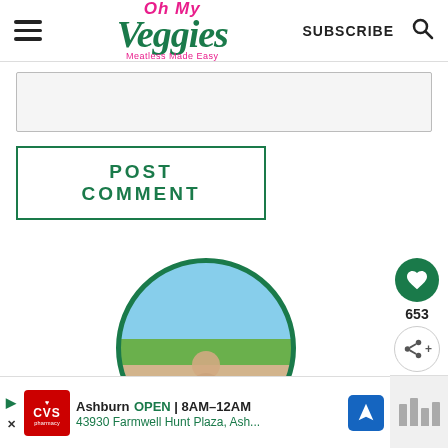Oh My Veggies — Meatless Made Easy
[Figure (screenshot): Text input area for comment]
POST COMMENT
[Figure (photo): Circular profile photo with beach background]
[Figure (infographic): Side action buttons: heart/like (653) and share]
[Figure (infographic): CVS Pharmacy ad banner: Ashburn OPEN 8AM-12AM, 43930 Farmwell Hunt Plaza, Ash...]